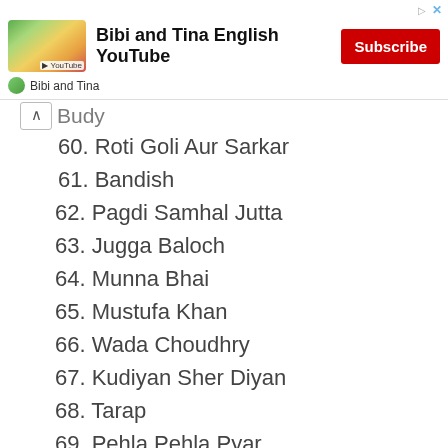[Figure (other): Advertisement banner for Bibi and Tina English YouTube channel with Subscribe button]
Budy (partial, cut off)
60. Roti Goli Aur Sarkar
61. Bandish
62. Pagdi Samhal Jutta
63. Jugga Baloch
64. Munna Bhai
65. Mustufa Khan
66. Wada Choudhry
67. Kudiyan Sher Diyan
68. Tarap
69. Pehla Pehla Pyar
70. Butt Badshah
71. Ajj Da Badmash